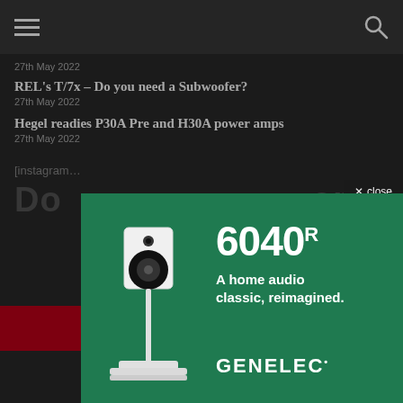27th May 2022
REL's T/7x – Do you need a Subwoofer?
27th May 2022
Hegel readies P30A Pre and H30A power amps
27th May 2022
[instagram…
Do … ort
[Figure (illustration): Genelec 6040R advertisement panel on green background showing a white studio monitor speaker on a stand. Text reads '6040R', 'A home audio classic, reimagined.', 'GENELEC'. Close button with 'x close' in top right.]